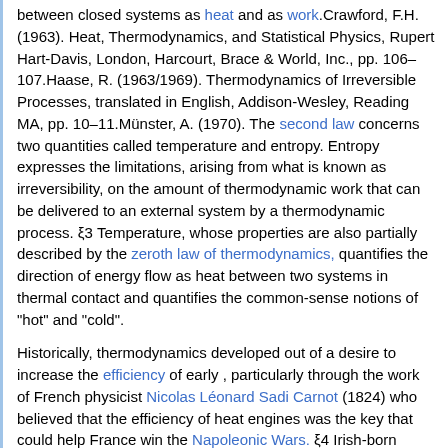between closed systems as heat and as work.Crawford, F.H. (1963). Heat, Thermodynamics, and Statistical Physics, Rupert Hart-Davis, London, Harcourt, Brace & World, Inc., pp. 106–107.Haase, R. (1963/1969). Thermodynamics of Irreversible Processes, translated in English, Addison-Wesley, Reading MA, pp. 10–11.Münster, A. (1970). The second law concerns two quantities called temperature and entropy. Entropy expresses the limitations, arising from what is known as irreversibility, on the amount of thermodynamic work that can be delivered to an external system by a thermodynamic process. ξ3 Temperature, whose properties are also partially described by the zeroth law of thermodynamics, quantifies the direction of energy flow as heat between two systems in thermal contact and quantifies the common-sense notions of "hot" and "cold".
Historically, thermodynamics developed out of a desire to increase the efficiency of early , particularly through the work of French physicist Nicolas Léonard Sadi Carnot (1824) who believed that the efficiency of heat engines was the key that could help France win the Napoleonic Wars. ξ4 Irish-born British physicist Lord Kelvin was the first to formulate a concise definition of thermodynamics in 1854:
Initially, the thermodynamics of heat engines concerned mainly the thermal properties of their 'working materials', such as steam. This concern was then linked to the study of energy transfers in chemical processes, for example to the...